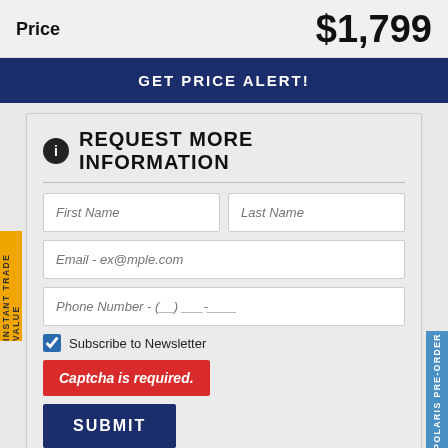Price   $1,799
GET PRICE ALERT!
REQUEST MORE INFORMATION
First Name
Last Name
Email - ex@mple.com
Phone Number - (__) ___-____
Subscribe to Newsletter
Captcha is required.
SUBMIT
By pressing SUBMIT, you agree that DX1, LLC and Ken's Sports of Green Bay may